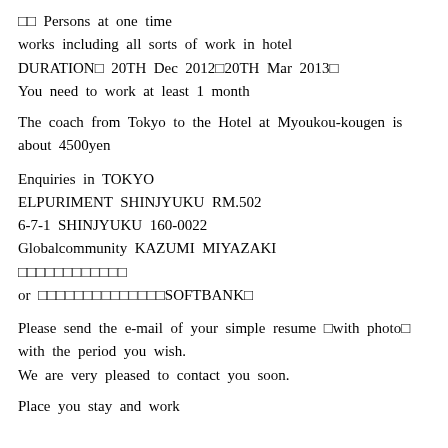□□  Persons at one time works including all sorts of work in hotel DURATION　 20TH Dec 2012㈀20TH Mar 2013　 You need to work at least 1 month
The coach from Tokyo to the Hotel at Myoukou-kougen is about 4500yen
Enquiries in TOKYO
ELPURIMENT SHINJYUKU RM.502
6-7-1 SHINJYUKU 160-0022
Globalcommunity KAZUMI MIYAZAKI
□□□□□□□□□□□□
or □□□□□□□□□□□□□□SOFTBANK□
Please send the e-mail of your simple resume □with photo□ with the period you wish.
We are very pleased to contact you soon.
Place you stay and work